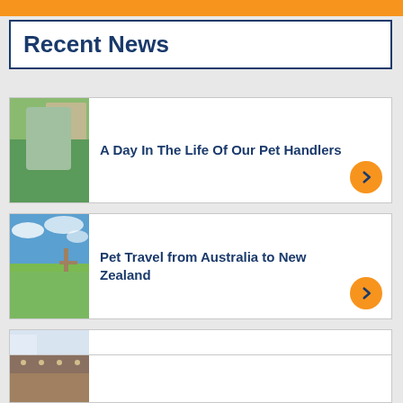Recent News
A Day In The Life Of Our Pet Handlers
[Figure (photo): People and a dog on a lawn outside a building]
Pet Travel from Australia to New Zealand
[Figure (photo): A white fluffy dog on a leash in a green field]
International Pet Travel Trends
[Figure (photo): A small puppy at what appears to be an airport or travel facility, Jetpets branding visible]
[Figure (photo): Partial view of a fourth news card image, brown tones]